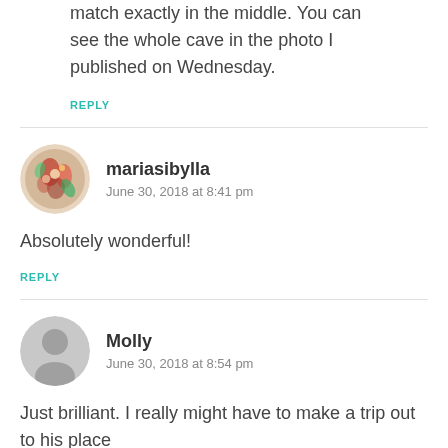match exactly in the middle. You can see the whole cave in the photo I published on Wednesday.
REPLY
mariasibylla
June 30, 2018 at 8:41 pm
Absolutely wonderful!
REPLY
Molly
June 30, 2018 at 8:54 pm
Just brilliant. I really might have to make a trip out to his place
Molly